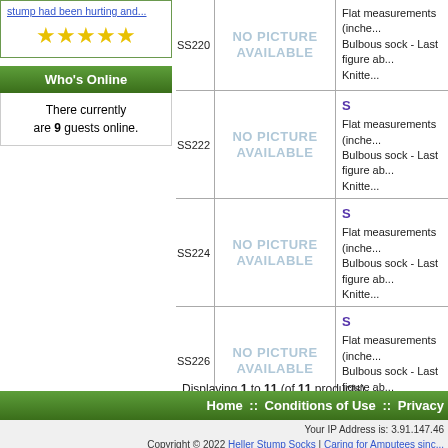stump had been hurting and...
[Figure (illustration): Five gold stars rating]
Who's Online
There currently are 9 guests online.
| ID | Image | Description |
| --- | --- | --- |
| SS220 | NO PICTURE AVAILABLE | Flat measurements (inche... Bulbous sock - Last figure ab... Knitte... |
| SS222 | NO PICTURE AVAILABLE | S... Flat measurements (inche... Bulbous sock - Last figure ab... Knitte... |
| SS224 | NO PICTURE AVAILABLE | S... Flat measurements (inche... Bulbous sock - Last figure ab... Knitte... |
| SS226 | NO PICTURE AVAILABLE | S... Flat measurements (inche... Bulbous sock - Last figure ab... Knitte... |
| SS228 | NO PICTURE AVAILABLE | S... Flat measurements (inche... Bulbous sock - Last figure ab... Knitte... |
Displaying 1 to 11 (of 11 products)
Home :: Conditions of Use :: Privacy
Your IP Address is: 3.91.147.46 Copyright © 2022 Heller Stump Socks | Caring for Amputees sinc...